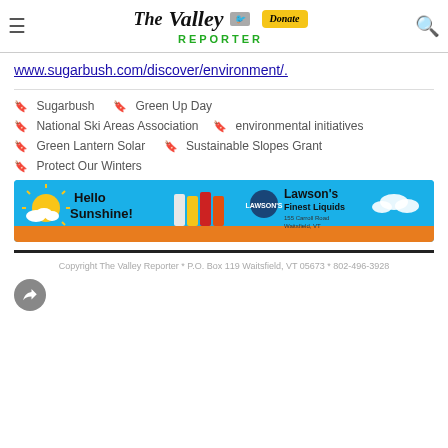The Valley Reporter
www.sugarbush.com/discover/environment/.
Sugarbush
Green Up Day
National Ski Areas Association
environmental initiatives
Green Lantern Solar
Sustainable Slopes Grant
Protect Our Winters
[Figure (illustration): Lawson's Finest Liquids advertisement banner: Hello Sunshine! with beer cans and sun graphic, 155 Carroll Road Waitsfield, VT]
Copyright The Valley Reporter * P.O. Box 119 Waitsfield, VT 05673 * 802-496-3928